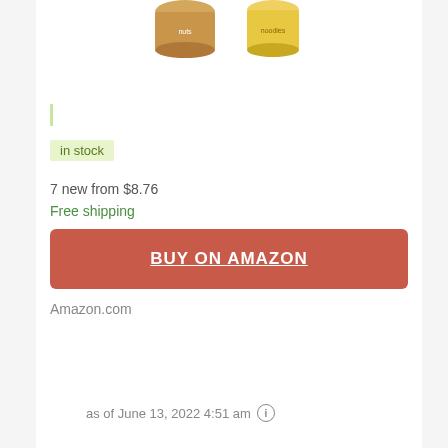[Figure (photo): Two product images of food containers at the top of the page - a nut mix container on the left and a noodle cup on the right]
|
in stock
7 new from $8.76
Free shipping
BUY ON AMAZON
Amazon.com
as of June 13, 2022 4:51 am